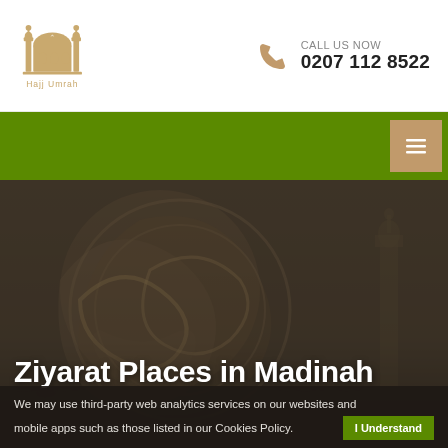[Figure (logo): Hajj Umrah logo with mosque silhouette in gold/tan color]
CALL US NOW
0207 112 8522
[Figure (other): Green navigation bar with tan/khaki hamburger menu button]
[Figure (photo): Dark hero image showing ornate Arabic calligraphy/Islamic geometric patterns on a building, with minaret visible on right side]
Ziyarat Places in Madinah
We may use third-party web analytics services on our websites and mobile apps such as those listed in our Cookies Policy.
I Understand